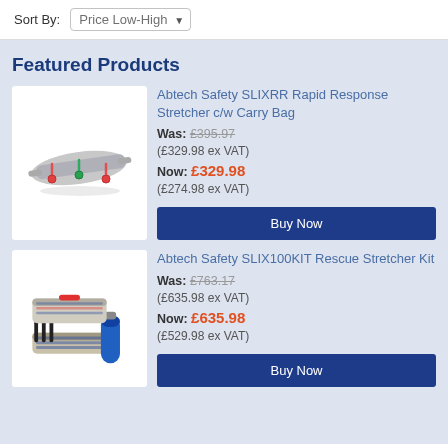Sort By: Price Low-High
Featured Products
[Figure (photo): Abtech Safety SLIXRR Rapid Response Stretcher with red/green handles, folded flat]
Abtech Safety SLIXRR Rapid Response Stretcher c/w Carry Bag
Was: £395.97 (£329.98 ex VAT)
Now: £329.98 (£274.98 ex VAT)
Buy Now
[Figure (photo): Abtech Safety SLIX100KIT Rescue Stretcher Kit with poles and blue cylinder]
Abtech Safety SLIX100KIT Rescue Stretcher Kit
Was: £763.17 (£635.98 ex VAT)
Now: £635.98 (£529.98 ex VAT)